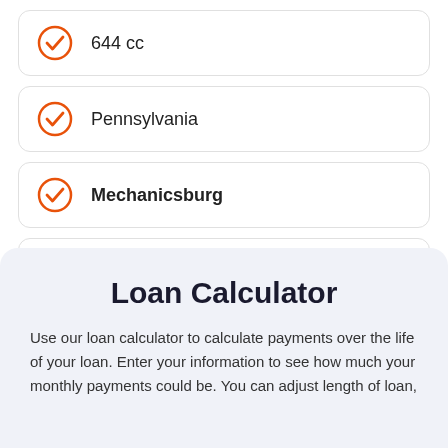644 cc
Pennsylvania
Mechanicsburg
Solid Special White
Loan Calculator
Use our loan calculator to calculate payments over the life of your loan. Enter your information to see how much your monthly payments could be. You can adjust length of loan,